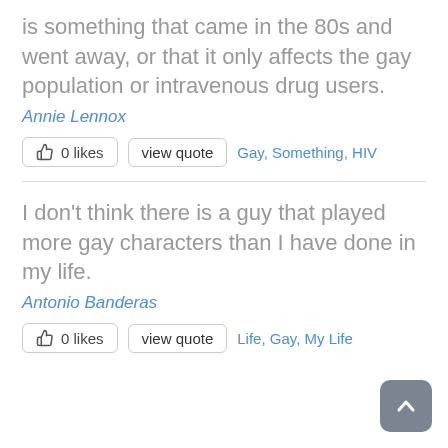is something that came in the 80s and went away, or that it only affects the gay population or intravenous drug users.
Annie Lennox
0 likes   view quote   Gay, Something, HIV
I don't think there is a guy that played more gay characters than I have done in my life.
Antonio Banderas
0 likes   view quote   Life, Gay, My Life